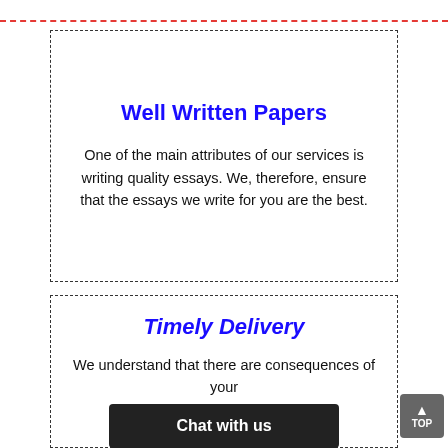Well Written Papers
One of the main attributes of our services is writing quality essays. We, therefore, ensure that the essays we write for you are the best.
Timely Delivery
We understand that there are consequences of your...
Chat with us